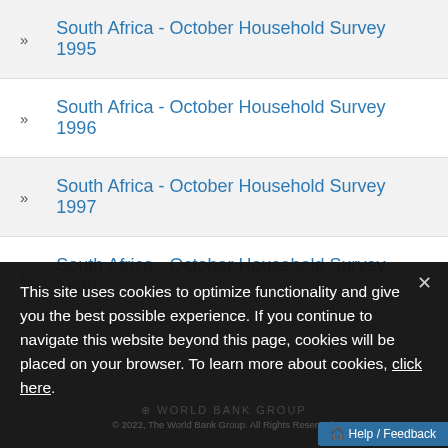» South Africa - October Household Survey 1995
» South Africa - October Household Survey 1996
» South Africa - October Household Survey 1997
» South Africa - October Household Survey 1998
This site uses cookies to optimize functionality and give you the best possible experience. If you continue to navigate this website beyond this page, cookies will be placed on your browser. To learn more about cookies, click here.